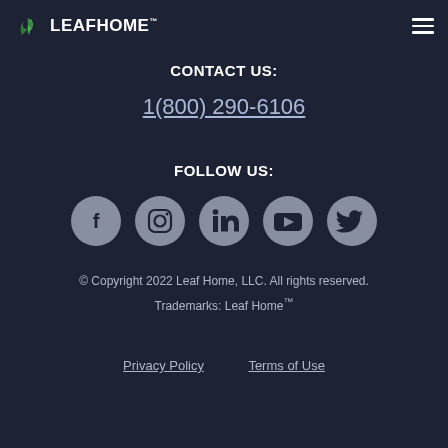Leaf Home
CONTACT US:
1(800) 290-6106
FOLLOW US:
[Figure (infographic): Five social media icon buttons in gray circles: Facebook, Instagram, LinkedIn, YouTube, Twitter]
© Copyright 2022 Leaf Home, LLC. All rights reserved. Trademarks: Leaf Home™
Privacy Policy   Terms of Use